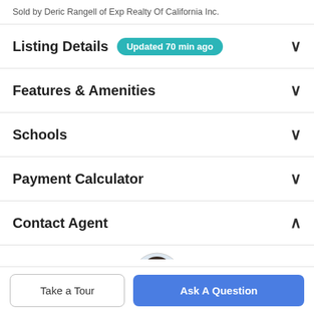Sold by Deric Rangell of Exp Realty Of California Inc.
Listing Details  Updated 70 min ago
Features & Amenities
Schools
Payment Calculator
Contact Agent
[Figure (photo): Circular headshot photo of a man with short dark hair and beard wearing a light blue shirt]
Take a Tour
Ask A Question